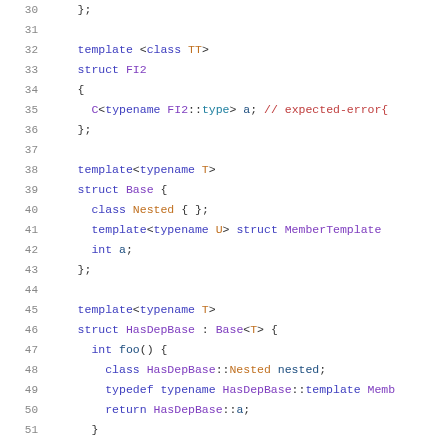[Figure (screenshot): Source code listing in a code editor showing C++ template code with syntax highlighting. Lines 30-51 are visible. The code shows struct FI2, struct Base with nested class and member template, and struct HasDepBase inheriting from Base<T>.]